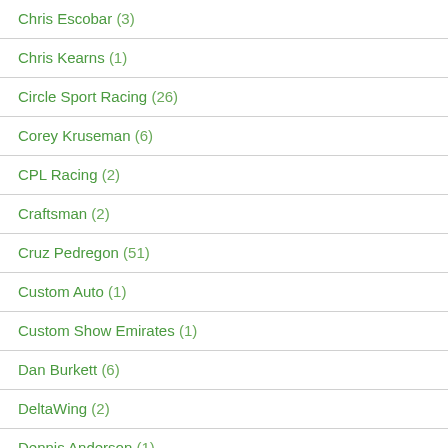Chris Escobar (3)
Chris Kearns (1)
Circle Sport Racing (26)
Corey Kruseman (6)
CPL Racing (2)
Craftsman (2)
Cruz Pedregon (51)
Custom Auto (1)
Custom Show Emirates (1)
Dan Burkett (6)
DeltaWing (2)
Dennis Anderson (1)
Detroit Speed (3)